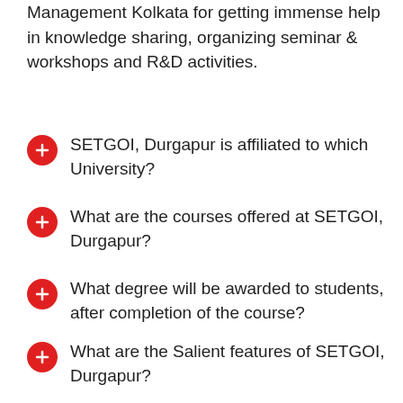Management Kolkata for getting immense help in knowledge sharing, organizing seminar & workshops and R&D activities.
SETGOI, Durgapur is affiliated to which University?
What are the courses offered at SETGOI, Durgapur?
What degree will be awarded to students, after completion of the course?
What are the Salient features of SETGOI, Durgapur?
What are the Awards and Recognition Achieved by SETGOI, Durgapur?